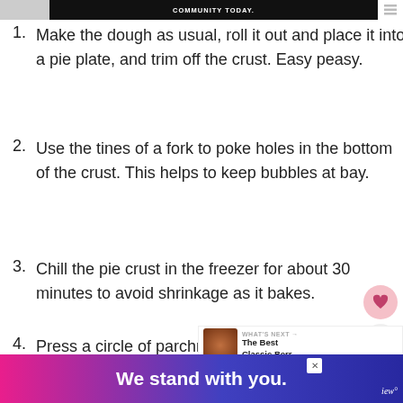COMMUNITY TODAY.
Make the dough as usual, roll it out and place it into a pie plate, and trim off the crust. Easy peasy.
Use the tines of a fork to poke holes in the bottom of the crust. This helps to keep bubbles at bay.
Chill the pie crust in the freezer for about 30 minutes to avoid shrinkage as it bakes.
Press a circle of parchment pape about the same size as the pie crust into the
[Figure (other): WHAT'S NEXT overlay with food image and text 'The Best Classic Berr...']
[Figure (other): Advertisement banner: 'We stand with you.']